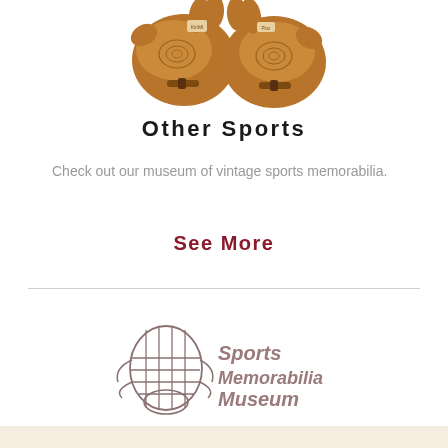[Figure (photo): Two vintage brown leather baseball/sports gloves shown from the palm side, with stitching detail and a buckle strap visible, on a white background.]
Other Sports
Check out our museum of vintage sports memorabilia.
See More
[Figure (logo): Sports Memorabilia Museum logo featuring a vintage catcher's mask outline on the left and the text 'Sports Memorabilia Museum' in brownish-gray small caps font on the right.]